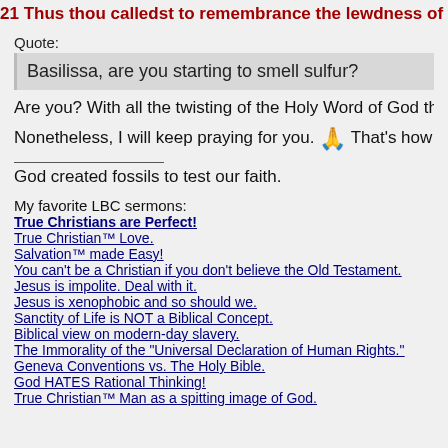21 Thus thou calledst to remembrance the lewdness of thy you
Quote:
Basilissa, are you starting to smell sulfur?
Are you? With all the twisting of the Holy Word of God that you've be
Nonetheless, I will keep praying for you. 🙏 That's how you know I'm
God created fossils to test our faith.
My favorite LBC sermons:
True Christians are Perfect!
True Christian™ Love.
Salvation™ made Easy!
You can't be a Christian if you don't believe the Old Testament.
Jesus is impolite. Deal with it.
Jesus is xenophobic and so should we.
Sanctity of Life is NOT a Biblical Concept.
Biblical view on modern-day slavery.
The Immorality of the "Universal Declaration of Human Rights."
Geneva Conventions vs. The Holy Bible.
God HATES Rational Thinking!
True Christian™ Man as a spitting image of God.